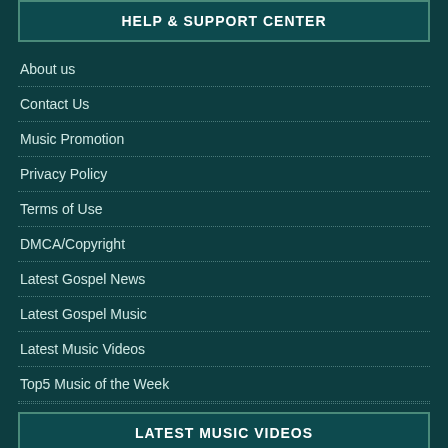HELP & SUPPORT CENTER
About us
Contact Us
Music Promotion
Privacy Policy
Terms of Use
DMCA/Copyright
Latest Gospel News
Latest Gospel Music
Latest Music Videos
Top5 Music of the Week
LATEST MUSIC VIDEOS